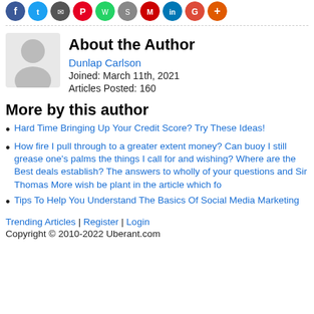[Figure (other): Row of social media sharing icon buttons (circular colored icons for Facebook, Twitter, email/share, Pinterest, WhatsApp, and others)]
About the Author
[Figure (illustration): Generic user avatar: grey circle with grey silhouette of a person]
Dunlap Carlson
Joined: March 11th, 2021
Articles Posted: 160
More by this author
Hard Time Bringing Up Your Credit Score? Try These Ideas!
How fire I pull through to a greater extent money? Can buoy I still grease one's palms the things I call for and wishing? Where are the Best deals establish? The answers to wholly of your questions and Sir Thomas More wish be plant in the article which fo
Tips To Help You Understand The Basics Of Social Media Marketing
Trending Articles | Register | Login
Copyright © 2010-2022 Uberant.com